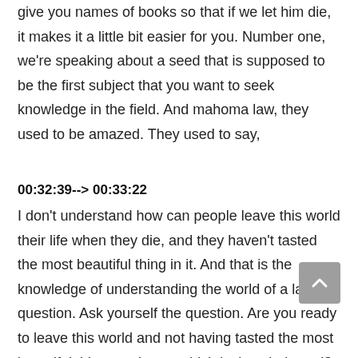give you names of books so that if we let him die, it makes it a little bit easier for you. Number one, we're speaking about a seed that is supposed to be the first subject that you want to seek knowledge in the field. And mahoma law, they used to be amazed. They used to say,
00:32:39--> 00:33:22
I don't understand how can people leave this world their life when they die, and they haven't tasted the most beautiful thing in it. And that is the knowledge of understanding the world of a last question. Ask yourself the question. Are you ready to leave this world and not having tasted the most beautiful thing you know, which is the whole end? Like some people when they go to a restaurant, and the restaurant is famous, and it's known for its signature dish, people will